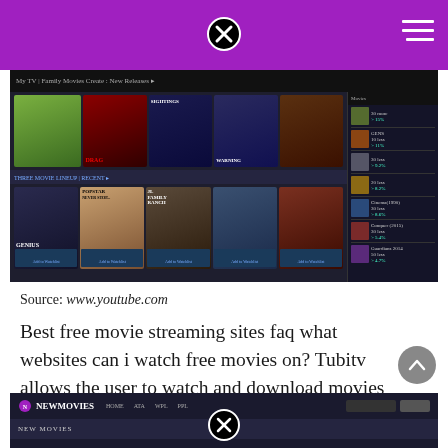[Figure (screenshot): Purple header bar with close button (X in circle) and hamburger menu icon on white website page]
[Figure (screenshot): Screenshot of a movie streaming website (likely Tubi TV) showing a dark-themed interface with movie poster thumbnails arranged in rows, including titles like Genius, Popstar, JL Family Ranch, and Imperium, with a side panel showing movie lists with ratings]
Source: www.youtube.com
Best free movie streaming sites faq what websites can i watch free movies on? Tubitv allows the user to watch and download movies for free.
[Figure (screenshot): Bottom portion of a New Movies website screenshot showing a dark navigation bar with logo and menu items, with a close button (X in circle) overlay]